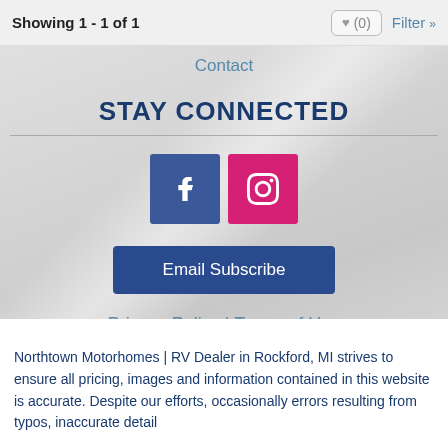Showing 1 - 1 of 1
♥ (0)
Filter »
Contact
STAY CONNECTED
[Figure (illustration): Facebook icon (blue square with white 'f') and Instagram icon (pink/magenta square with camera icon)]
Email Subscribe
Privacy Policy | Terms of Use
Northtown Motorhomes | RV Dealer in Rockford, MI strives to ensure all pricing, images and information contained in this website is accurate. Despite our efforts, occasionally errors resulting from typos, inaccurate detail